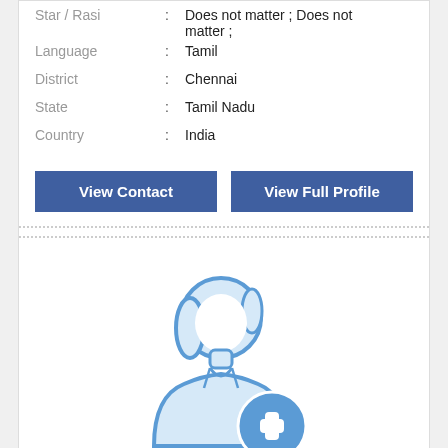Star / Rasi : Does not matter ; Does not matter ;
Language : Tamil
District : Chennai
State : Tamil Nadu
Country : India
View Contact
View Full Profile
[Figure (illustration): A blue outline illustration of a female silhouette with a blue plus sign circle badge at the bottom right, indicating add photo placeholder.]
Matrimony ID: CM2357...